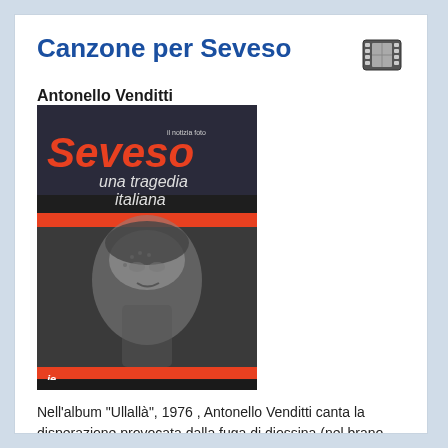Canzone per Seveso
[Figure (illustration): Film strip / movie reel icon in top right corner]
Antonello Venditti
[Figure (photo): Black and white photo book cover titled 'Seveso una tragedia italiana' showing a woman with skin lesions, published by ie, with text 'il notizia foto']
Nell'album "Ullallà", 1976 , Antonello Venditti canta la disperazione provocata dalla fuga di diossina (nel brano "Canzone per Seveso"), gas altamente